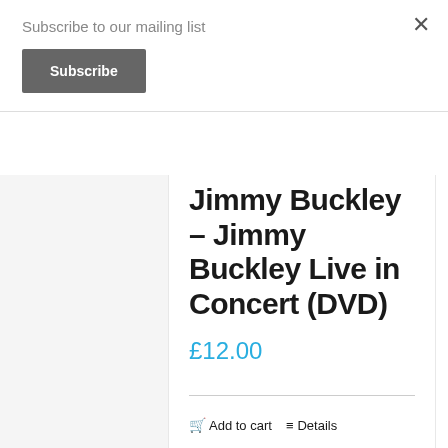Subscribe to our mailing list
×
Subscribe
Jimmy Buckley – Jimmy Buckley Live in Concert (DVD)
£12.00
Add to cart
Details